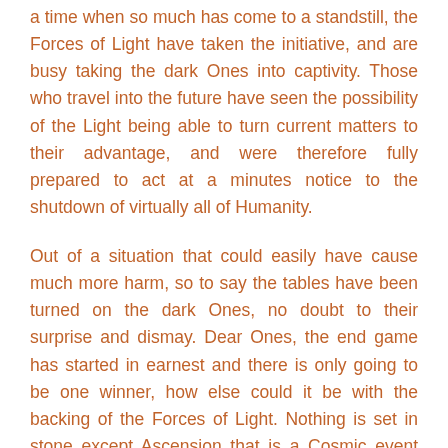a time when so much has come to a standstill, the Forces of Light have taken the initiative, and are busy taking the dark Ones into captivity. Those who travel into the future have seen the possibility of the Light being able to turn current matters to their advantage, and were therefore fully prepared to act at a minutes notice to the shutdown of virtually all of Humanity.
Out of a situation that could easily have cause much more harm, so to say the tables have been turned on the dark Ones, no doubt to their surprise and dismay. Dear Ones, the end game has started in earnest and there is only going to be one winner, how else could it be with the backing of the Forces of Light. Nothing is set in stone except Ascension that is a Cosmic event beyond the interference of the dark Ones. They are in disarray and lack co-ordination to be able to stop the outcome in favour of the Light. They will not